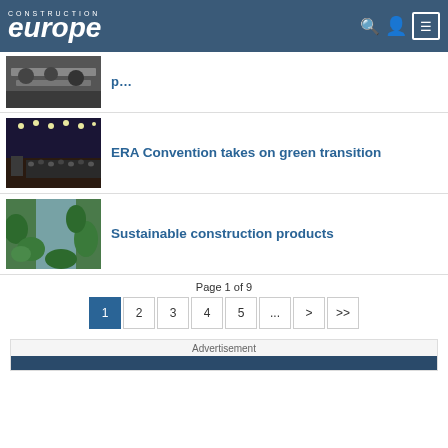CONSTRUCTION europe
[Figure (photo): People seated around a conference table in a meeting room]
[Figure (photo): Large conference hall with audience and speaker on stage with dramatic lighting]
ERA Convention takes on green transition
[Figure (photo): Green plant-covered building facade or vertical garden with blue glass]
Sustainable construction products
Page 1 of 9
1  2  3  4  5  ...  >  >>
Advertisement